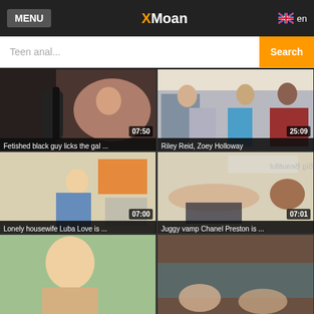MENU | XMoan | en
Teen anal... Search
[Figure (screenshot): Video thumbnail: woman with dark hair in patterned top, duration 07:50]
Fetished black guy licks the gal ...
[Figure (screenshot): Video thumbnail: man and two women sitting on couch, duration 25:09]
Riley Reid, Zoey Holloway
[Figure (screenshot): Video thumbnail: blonde woman in kitchen, duration 07:00]
Lonely housewife Luba Love is ...
[Figure (screenshot): Video thumbnail: couple lying on bed, duration 07:01]
Juggy vamp Chanel Preston is ...
[Figure (screenshot): Video thumbnail: blonde woman outdoors, partial view]
[Figure (screenshot): Video thumbnail: feet/legs on surface, partial view]